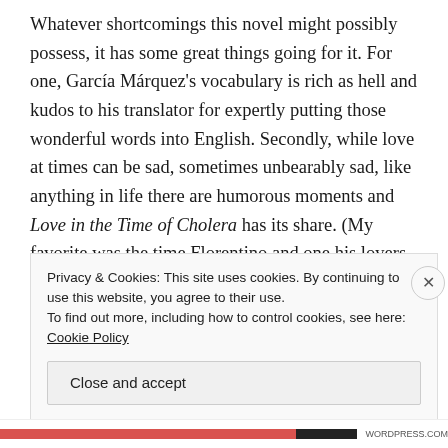Whatever shortcomings this novel might possibly possess, it has some great things going for it. For one, García Márquez's vocabulary is rich as hell and kudos to his translator for expertly putting those wonderful words into English. Secondly, while love at times can be sad, sometimes unbearably sad, like anything in life there are humorous moments and Love in the Time of Cholera has its share. (My favorite was the time Florentino and one his lovers spend a session so absorbed in their lovemaking they neglect to notice the house around them being burglarized. Their passion spent and relishing the afterglow, they look up to see an
Privacy & Cookies: This site uses cookies. By continuing to use this website, you agree to their use.
To find out more, including how to control cookies, see here: Cookie Policy
Close and accept